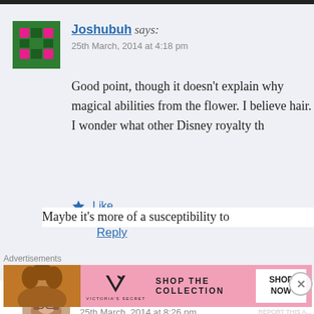Joshubuh says: 25th March, 2014 at 4:18 pm — Good point, though it doesn't explain why magical abilities from the flower. I believe hair. I wonder what other Disney royalty th
Like
Reply
Samantha says: 25th March, 2014 at 8:26 pm — Maybe it's more of a susceptibility to
Advertisements
[Figure (screenshot): Victoria's Secret advertisement banner with model, VS logo, 'SHOP THE COLLECTION' text, and 'SHOP NOW' button]